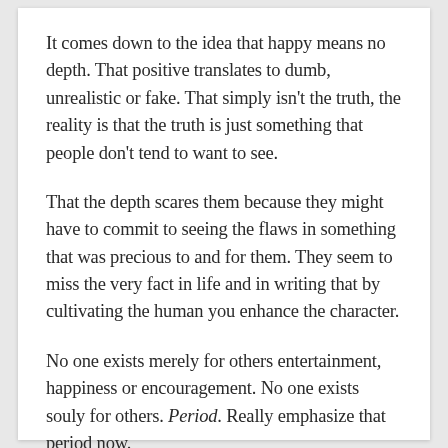It comes down to the idea that happy means no depth. That positive translates to dumb, unrealistic or fake. That simply isn't the truth, the reality is that the truth is just something that people don't tend to want to see.
That the depth scares them because they might have to commit to seeing the flaws in something that was precious to and for them. They seem to miss the very fact in life and in writing that by cultivating the human you enhance the character.
No one exists merely for others entertainment, happiness or encouragement. No one exists souly for others. Period. Really emphasize that period now.
SHARE THE LOVE!